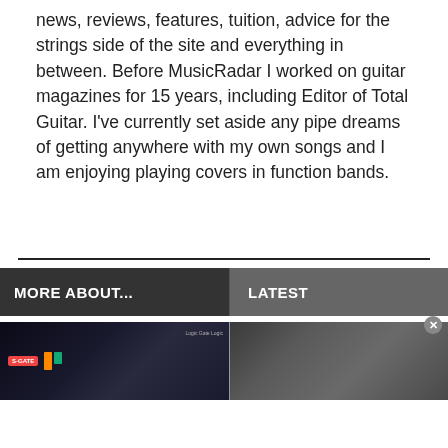news, reviews, features, tuition, advice for the strings side of the site and everything in between. Before MusicRadar I worked on guitar magazines for 15 years, including Editor of Total Guitar. I've currently set aside any pipe dreams of getting anywhere with my own songs and I am enjoying playing covers in function bands.
MORE ABOUT...
LATEST
[Figure (screenshot): Screenshot of a music software interface with dark background showing a gate plugin in Logic Pro]
[Figure (photo): Partially visible photo with dark tones, appears to show a person]